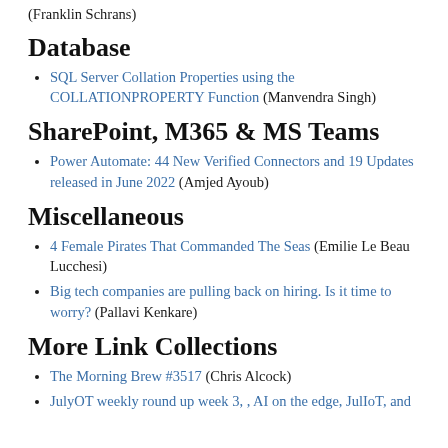(Franklin Schrans)
Database
SQL Server Collation Properties using the COLLATIONPROPERTY Function (Manvendra Singh)
SharePoint, M365 & MS Teams
Power Automate: 44 New Verified Connectors and 19 Updates released in June 2022 (Amjed Ayoub)
Miscellaneous
4 Female Pirates That Commanded The Seas (Emilie Le Beau Lucchesi)
Big tech companies are pulling back on hiring. Is it time to worry? (Pallavi Kenkare)
More Link Collections
The Morning Brew #3517 (Chris Alcock)
JulyOT weekly round up week 3, , AI on the edge, JulIoT, and more embed block here (Tim Bennett)